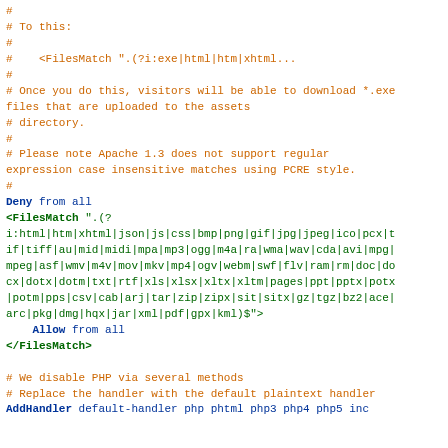# 
# To this:
#
#    <FilesMatch ".(?i:exe|html|htm|xhtml...
#
# Once you do this, visitors will be able to download *.exe files that are uploaded to the assets
# directory.
#
# Please note Apache 1.3 does not support regular expression case insensitive matches using PCRE style.
#
Deny from all
<FilesMatch ".(?i:html|htm|xhtml|json|js|css|bmp|png|gif|jpg|jpeg|ico|pcx|tif|tiff|au|mid|midi|mpa|mp3|ogg|m4a|ra|wma|wav|cda|avi|mpg|mpeg|asf|wmv|m4v|mov|mkv|mp4|ogv|webm|swf|flv|ram|rm|doc|docx|dotx|dotm|txt|rtf|xls|xlsx|xltx|xltm|pages|ppt|pptx|potx|potm|pps|csv|cab|arj|tar|zip|zipx|sit|sitx|gz|tgz|bz2|ace|arc|pkg|dmg|hqx|jar|xml|pdf|gpx|kml)$">
    Allow from all
</FilesMatch>

# We disable PHP via several methods
# Replace the handler with the default plaintext handler
AddHandler default-handler php phtml php3 php4 php5 inc